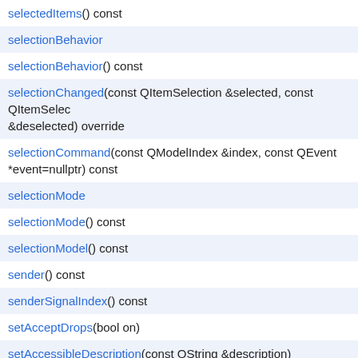selectedItems() const
selectionBehavior
selectionBehavior() const
selectionChanged(const QItemSelection &selected, const QItemSelection &deselected) override
selectionCommand(const QModelIndex &index, const QEvent *event=nullptr) const
selectionMode
selectionMode() const
selectionModel() const
sender() const
senderSignalIndex() const
setAcceptDrops(bool on)
setAccessibleDescription(const QString &description)
setAccessibleName(const QString &name)
setAllColumnsShowFocus(bool enable)